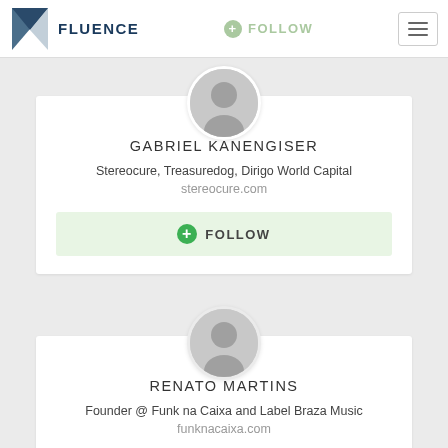FLUENCE
[Figure (screenshot): User profile avatar placeholder (grey silhouette) for Gabriel Kanengiser]
GABRIEL KANENGISER
Stereocure, Treasuredog, Dirigo World Capital
stereocure.com
FOLLOW
[Figure (screenshot): User profile avatar placeholder (grey silhouette) for Renato Martins]
RENATO MARTINS
Founder @ Funk na Caixa and Label Braza Music
funknacaixa.com